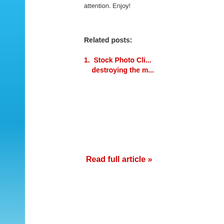attention. Enjoy!
Related posts:
Stock Photo Cli... destroying the m...
Read full article »
[Figure (illustration): Cartoon avatar of a character wearing a yellow crown and red headband, with large round eyes, on a light blue sky background]
Community News